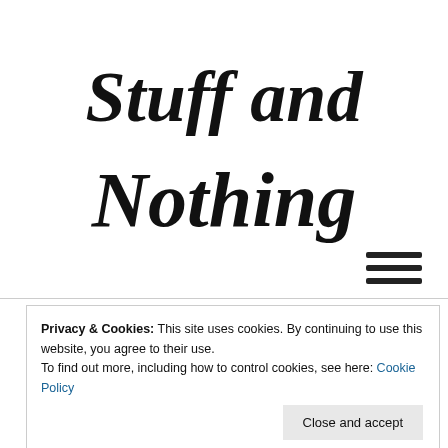Stuff and Nothing
[Figure (other): Hamburger menu icon (three horizontal lines)]
Privacy & Cookies: This site uses cookies. By continuing to use this website, you agree to their use.
To find out more, including how to control cookies, see here: Cookie Policy
Close and accept
Toilet training